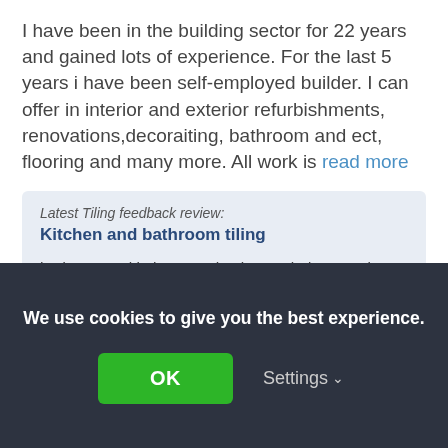I have been in the building sector for 22 years and gained lots of experience. For the last 5 years i have been self-employed builder. I can offer in interior and exterior refurbishments, renovations,decoraiting, bathroom and ect, flooring and many more. All work is read more
Latest Tiling feedback review: Kitchen and bathroom tiling
had to cancel in between having work done again, not happy, tiles in kitchen were placed wrong, and used simple adhesive on bathroom floor instead of waterproof. wasted my time and money.
By anks_28 on 23rd Jan, 2022
We use cookies to give you the best experience.